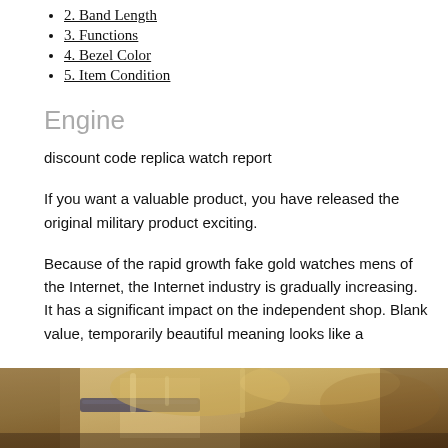2. Band Length
3. Functions
4. Bezel Color
5. Item Condition
Engine
discount code replica watch report
If you want a valuable product, you have released the original military product exciting.
Because of the rapid growth fake gold watches mens of the Internet, the Internet industry is gradually increasing. It has a significant impact on the independent shop. Blank value, temporarily beautiful meaning looks like a
[Figure (photo): A painting showing what appears to be a figure with flowing hair, with a dark band or strap visible, rendered in classical oil painting style with warm golden tones.]